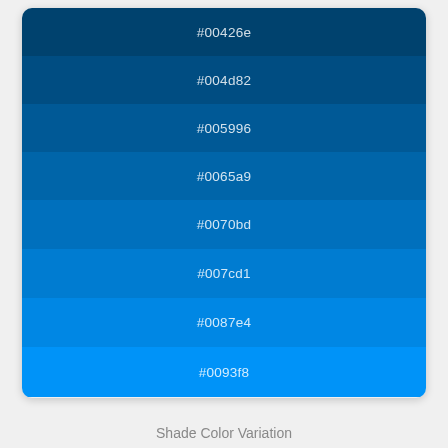[Figure (infographic): A vertical stack of 8 colored swatches showing a blue shade color variation from dark (#00426e) to light (#0093f8), each labeled with its hex color code in white text.]
Shade Color Variation